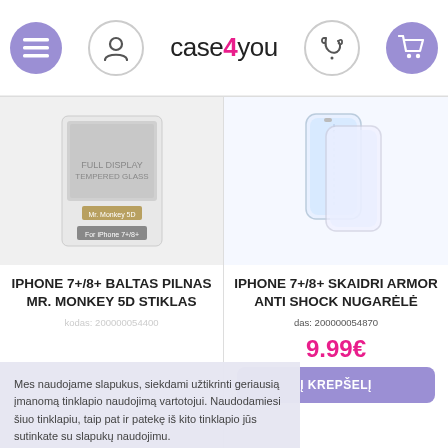[Figure (screenshot): case4you website header with navigation icons (hamburger menu, user icon, logo, phone icon, cart icon)]
[Figure (photo): iPhone 7+/8+ white full display screen protector product image by Mr. Monkey 5D]
[Figure (photo): iPhone 7+/8+ clear Armor Anti Shock back cover product image]
IPHONE 7+/8+ BALTAS PILNAS MR. MONKEY 5D STIKLAS
IPHONE 7+/8+ SKAIDRI ARMOR ANTI SHOCK NUGARELĖ
das: 200000054870
9.99€
Į KREPŠELĮ
Mes naudojame slapukus, siekdami užtikrinti geriausią įmanomą tinklapio naudojimą vartotojui. Naudodamiesi šiuo tinklapiu, taip pat ir patekę iš kito tinklapio jūs sutinkate su slapukų naudojimu.
Sutinku